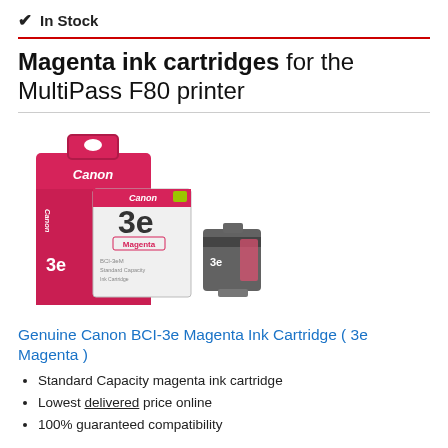✔ In Stock
Magenta ink cartridges for the MultiPass F80 printer
[Figure (photo): Canon BCI-3e Magenta ink cartridge product photo showing the magenta-colored retail box and the ink cartridge itself]
Genuine Canon BCI-3e Magenta Ink Cartridge ( 3e Magenta )
Standard Capacity magenta ink cartridge
Lowest delivered price online
100% guaranteed compatibility